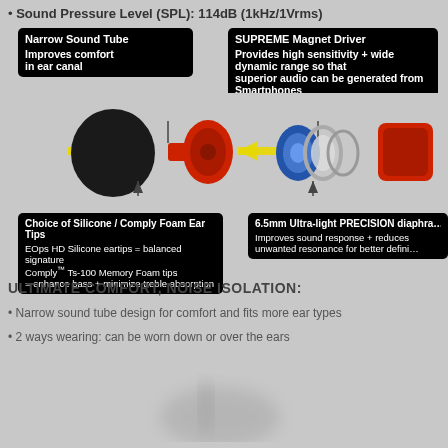Sound Pressure Level (SPL): 114dB (1kHz/1Vrms)
[Figure (infographic): Exploded diagram of earphone components: foam ear tip, red narrow sound tube, blue/silver driver assembly, red housing. Annotated with callout boxes for Narrow Sound Tube, SUPREME Magnet Driver, Choice of Silicone/Comply Foam Ear Tips, and 6.5mm Ultra-light PRECISION diaphragm. Yellow arrows show assembly direction.]
ULTIMATE COMFORT, NOISE ISOLATION:
Narrow sound tube design for comfort and fits more ear types
2 ways wearing: can be worn down or over the ears